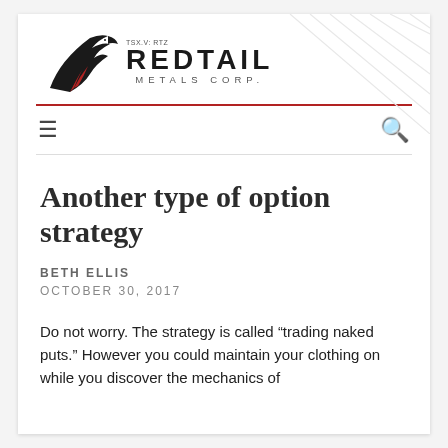[Figure (logo): Redtail Metals Corp logo with eagle head graphic and text 'TSX.V: RTZ REDTAIL METALS CORP.']
Another type of option strategy
BETH ELLIS
OCTOBER 30, 2017
Do not worry. The strategy is called “trading naked puts.” However you could maintain your clothing on while you discover the mechanics of